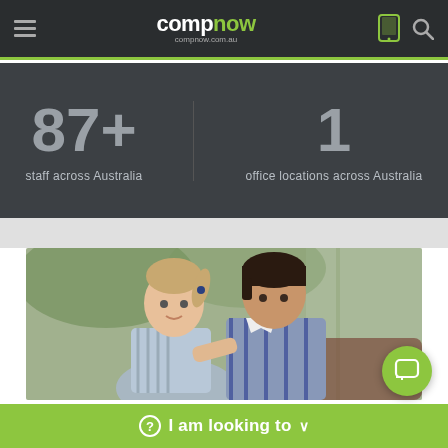compnow - compnow.com.au
87+ staff across Australia
1 office locations across Australia
[Figure (photo): Two school-aged children in school uniforms looking down at something together, possibly a tablet or book. Indoor setting with natural light from a window in background.]
I am looking to